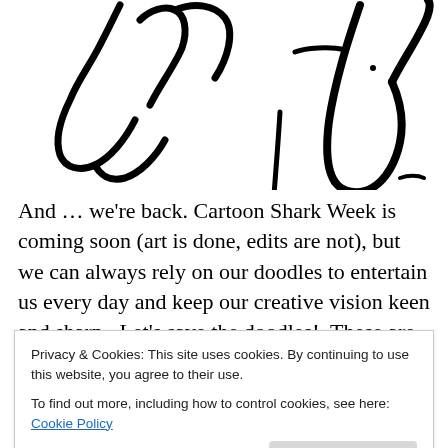[Figure (illustration): Handwritten doodle text in black ink, appears to be cursive/brush script writing, partially cut off at top of page]
And … we're back. Cartoon Shark Week is coming soon (art is done, edits are not), but we can always rely on our doodles to entertain us every day and keep our creative vision keen and sharp. Let's save the doodles! These are
Privacy & Cookies: This site uses cookies. By continuing to use this website, you agree to their use.
To find out more, including how to control cookies, see here: Cookie Policy
medium nib.  The ink in this pen is pretty much permanent